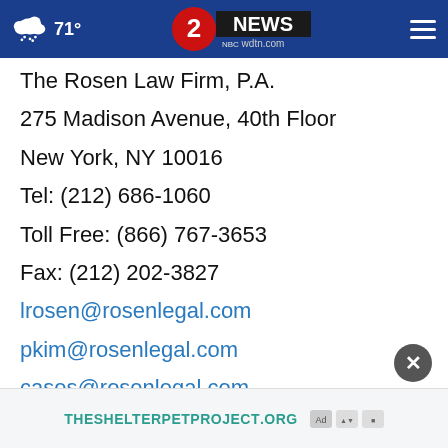71° | 2 NEWS wdtn.com
The Rosen Law Firm, P.A.
275 Madison Avenue, 40th Floor
New York, NY 10016
Tel: (212) 686-1060
Toll Free: (866) 767-3653
Fax: (212) 202-3827
lrosen@rosenlegal.com
pkim@rosenlegal.com
cases@rosenlegal.com
www.rosenlegal.com
[Figure (other): Advertisement banner: THESHELTERPETPROJECT.ORG with ad choice icons]